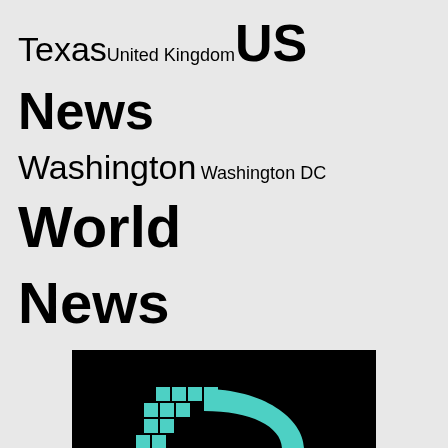Texas United Kingdom US News Washington Washington DC World News
[Figure (logo): Dispatch news logo on black background with teal D letter made of pixels and curved shape, text DISPATCH NEWS | OPINION | INTERVIEWS | REVIEWS]
SEARCH NEWS - TYPE KEYWORD & HIT ENTER
HOME   ABOUT US   PRIVACY POLICY   TERMS AND CONDITIONS   ADVERTISE ON THE GLOBAL